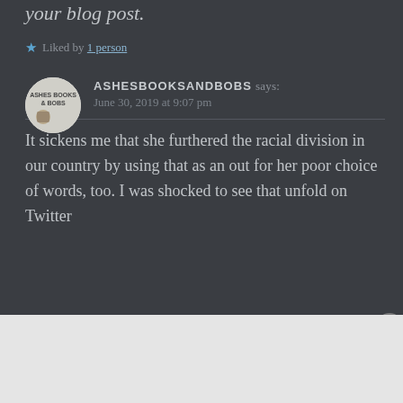your blog post.
★ Liked by 1 person
ASHESBOOKSANDBOBS says:
June 30, 2019 at 9:07 pm
It sickens me that she furthered the racial division in our country by using that as an out for her poor choice of words, too. I was shocked to see that unfold on Twitter
[Figure (other): DuckDuckGo advertisement banner: orange background with text 'Search, browse, and email with more privacy. All in One Free App' and a phone mockup with DuckDuckGo logo]
Advertisements